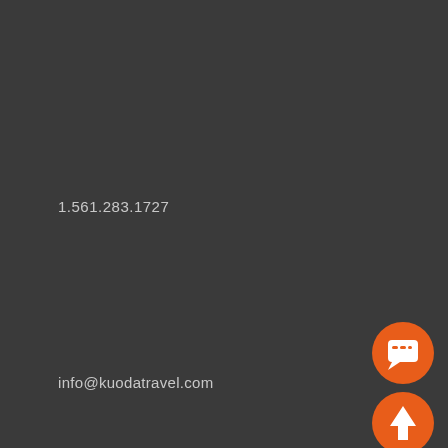1.561.283.1727
info@kuodatravel.com
[Figure (illustration): Orange circular chat bubble icon button]
[Figure (illustration): Orange circular upward arrow icon button]